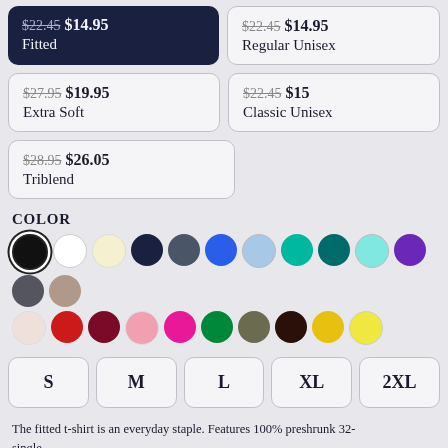$22.45 $14.95 Fitted
$22.45 $14.95 Regular Unisex
$27.95 $19.95 Extra Soft
$22.45 $15 Classic Unisex
$28.95 $26.05 Triblend
COLOR
[Figure (infographic): Color swatches: black (selected), white, cream, navy, slate, royal blue, light blue, teal, dark teal, aqua, purple, dark gray, tan, light pink, red, maroon, pink, magenta, green, olive, dark brown, gold, yellow]
[Figure (infographic): Size buttons: S, M, L, XL, 2XL]
The fitted t-shirt is an everyday staple. Features 100% preshrunk 32-single...